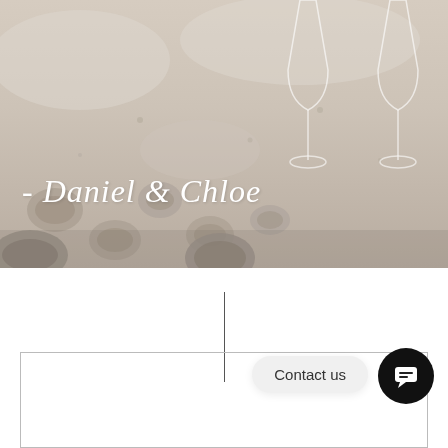[Figure (photo): Beach scene with sandy footprints and two champagne/wine glasses in the background, top half of page]
- Daniel & Chloe
YOU AND I
Contact us